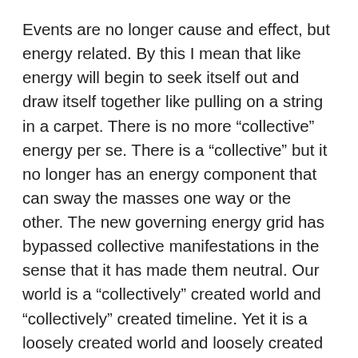Events are no longer cause and effect, but energy related. By this I mean that like energy will begin to seek itself out and draw itself together like pulling on a string in a carpet. There is no more “collective” energy per se. There is a “collective” but it no longer has an energy component that can sway the masses one way or the other. The new governing energy grid has bypassed collective manifestations in the sense that it has made them neutral. Our world is a “collectively” created world and “collectively” created timeline. Yet it is a loosely created world and loosely created timeline that encourages lots of creative manipulation. There are no tightly bound rules or laws that govern what can and can’t be done. It will take awhile for people to get used to this apparent chaotic element, but it is an element of free will and pure creative expression.